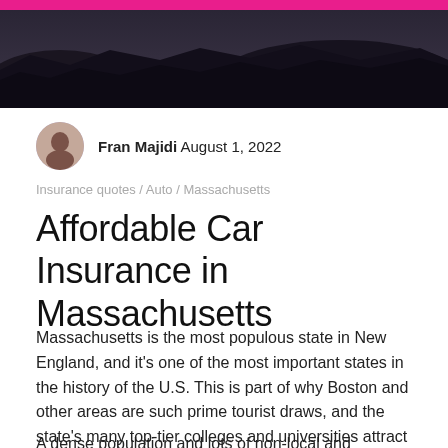[Figure (photo): Dark rocky landscape hero image with a hot pink bar at the top]
Fran Majidi August 1, 2022
Insurance quotes / Auto / Massachusetts
Affordable Car Insurance in Massachusetts
Massachusetts is the most populous state in New England, and it's one of the most important states in the history of the U.S. This is part of why Boston and other areas are such prime tourist draws, and the state's many top-tier colleges and universities attract big numbers of college kids.
A dense population and lots of non-local and inexperienced